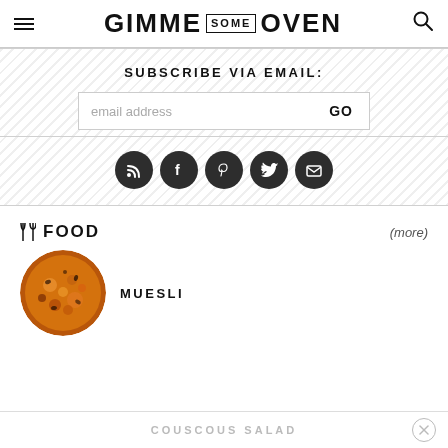GIMME SOME OVEN
SUBSCRIBE VIA EMAIL:
email address  GO
[Figure (infographic): Social media icon buttons: RSS, Facebook, Pinterest, Twitter, email (Pocket/Feedly)]
FOOD
(more)
[Figure (photo): Circular thumbnail photo of a pizza or grain dish (muesli)]
MUESLI
COUSCOUS SALAD